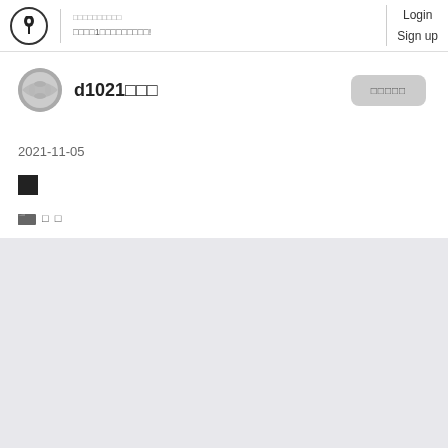□□□□□□□□□□ □□□□1□□□□□□□□□!  Login  Sign up
[Figure (photo): User avatar circle with grey mesh/scale texture]
d1021□□□
□□□□□
2021-11-05
[Figure (illustration): Small black filled square]
[Figure (illustration): Folder icon followed by small icons]